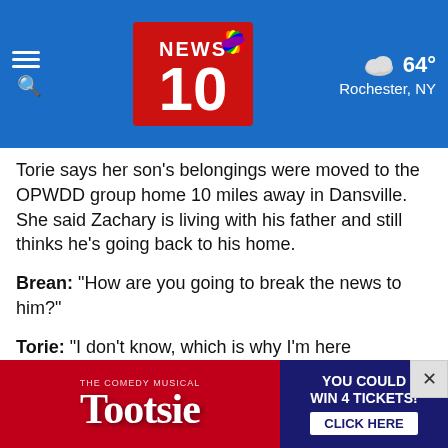NEWS 10 NBC | 64° Rochester, NY
Torie says her son's belongings were moved to the OPWDD group home 10 miles away in Dansville. She said Zachary is living with his father and still thinks he's going back to his home.
Brean: "How are you going to break the news to him?"
Torie: "I don't know, which is why I'm here demanding that they bring his stuff back."
The group home in Dansville was closed about two weeks ago and its residents got moved.
Now it's reopened to take displaced residents like Zachary.
The union that represents group home employees said one home in… are on t…
[Figure (advertisement): Tootsie The Comedy Musical advertisement with red glitter background on left and dark blue 'YOU COULD WIN 4 TICKETS! CLICK HERE' on right. Close button (×) top right.]